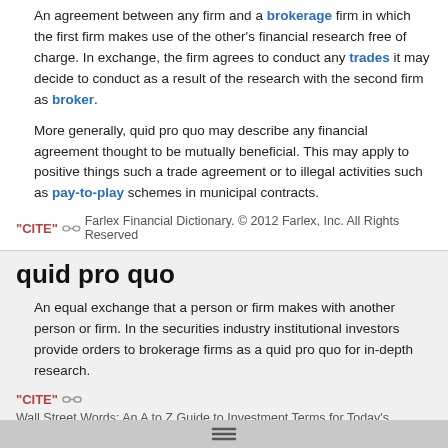An agreement between any firm and a brokerage firm in which the first firm makes use of the other's financial research free of charge. In exchange, the firm agrees to conduct any trades it may decide to conduct as a result of the research with the second firm as broker.
More generally, quid pro quo may describe any financial agreement thought to be mutually beneficial. This may apply to positive things such a trade agreement or to illegal activities such as pay-to-play schemes in municipal contracts.
"CITE" [link icon] Farlex Financial Dictionary. © 2012 Farlex, Inc. All Rights Reserved
quid pro quo
An equal exchange that a person or firm makes with another person or firm. In the securities industry institutional investors provide orders to brokerage firms as a quid pro quo for in-depth research.
"CITE" [link icon] Wall Street Words: An A to Z Guide to Investment Terms for Today's Investor by David L. Scott. Copyright © 20[...] Houghton Mifflin Company. Published